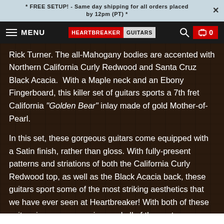* FREE SETUP! - Same day shipping for all orders placed by 12pm (PT) *
MENU | HEARTBREAKER GUITARS | [search] | cart 0
Rick Turner. The all-Mahogany bodies are accented with Northern California Curly Redwood and Santa Cruz Black Acacia.  With a Maple neck and an Ebony Fingerboard, this killer set of guitars sports a 7th fret California "Golden Bear" inlay made of gold Mother-of-Pearl.
In this set, these gorgeous guitars come equipped with a Satin finish, rather than gloss. With fully-present patterns and striations of both the California Curly Redwood top, as well as the Black Acacia back, these guitars sport some of the most striking aesthetics that we have ever seen at Heartbreaker! With both of these guitars in your possession, and all of the custom features that they offer, your tone will be formidable on all fronts!...